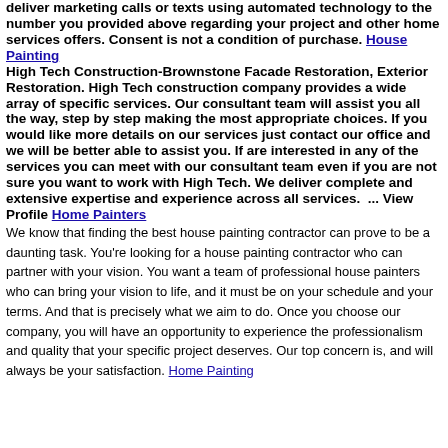deliver marketing calls or texts using automated technology to the number you provided above regarding your project and other home services offers. Consent is not a condition of purchase. House Painting High Tech Construction-Brownstone Facade Restoration, Exterior Restoration. High Tech construction company provides a wide array of specific services. Our consultant team will assist you all the way, step by step making the most appropriate choices. If you would like more details on our services just contact our office and we will be better able to assist you. If are interested in any of the services you can meet with our consultant team even if you are not sure you want to work with High Tech. We deliver complete and extensive expertise and experience across all services.  ... View Profile Home Painters
We know that finding the best house painting contractor can prove to be a daunting task. You're looking for a house painting contractor who can partner with your vision. You want a team of professional house painters who can bring your vision to life, and it must be on your schedule and your terms. And that is precisely what we aim to do. Once you choose our company, you will have an opportunity to experience the professionalism and quality that your specific project deserves. Our top concern is, and will always be your satisfaction. Home Painting